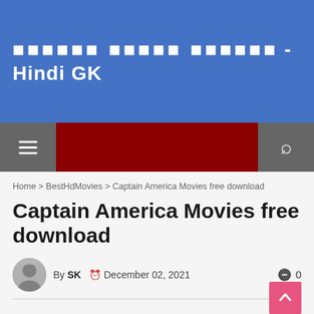सामान्य ज्ञान प्रश्नोत्तर - Hindi GK
Home > BestHdMovies > Captain America Movies free download
Captain America Movies free download
By SK   December 02, 2021   0